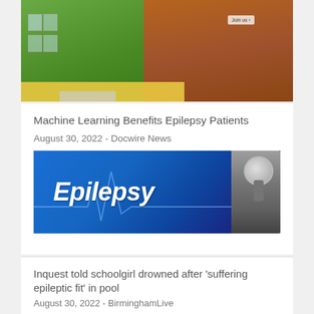[Figure (photo): Exterior of a building with green and brick facade, yellow railing/fence at front, sign visible on brick wall]
Machine Learning Benefits Epilepsy Patients
August 30, 2022 - Docwire News
[Figure (photo): Blue tablet screen showing the word 'Epilepsy' in bold italic white text, with a stethoscope visible on the right side]
Inquest told schoolgirl drowned after 'suffering epileptic fit' in pool
August 30, 2022 - BirminghamLive